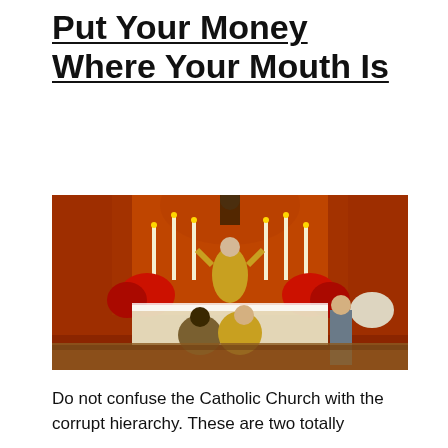Put Your Money Where Your Mouth Is
[Figure (photo): Catholic Mass being celebrated at an ornate altar with candles, red poinsettias, golden vestments, and clergy and attendants kneeling before the altar.]
Do not confuse the Catholic Church with the corrupt hierarchy. These are two totally